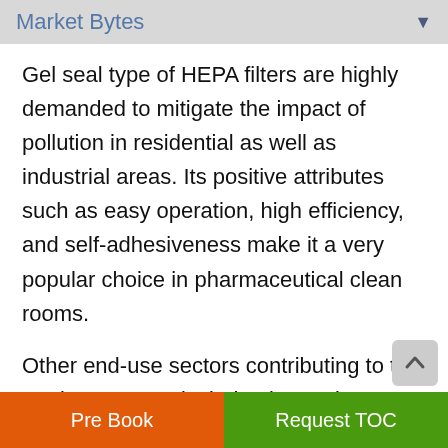Market Bytes
Gel seal type of HEPA filters are highly demanded to mitigate the impact of pollution in residential as well as industrial areas. Its positive attributes such as easy operation, high efficiency, and self-adhesiveness make it a very popular choice in pharmaceutical clean rooms.
Other end-use sectors contributing to the market revenue include electronics, healthcare, and food & beverages. The rising government programs regarding health are also compelling the indus
Pre Book | Request TOC